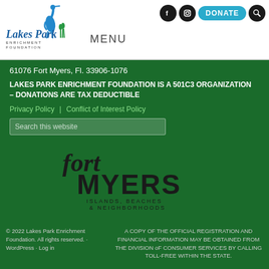[Figure (logo): Lakes Park Enrichment Foundation logo with heron bird and script text]
MENU
[Figure (other): Social media icons (Facebook, Instagram), DONATE button, and search icon in top right header]
61076 Fort Myers, Fl. 33906-1076
LAKES PARK ENRICHMENT FOUNDATION IS A 501C3 ORGANIZATION – DONATIONS ARE TAX DEDUCTIBLE
Privacy Policy | Conflict of Interest Policy
Search this website
[Figure (logo): Fort Myers Islands, Beaches & Neighborhoods logo in dark text on green background]
© 2022 Lakes Park Enrichment Foundation. All rights reserved. · WordPress · Log in
A COPY OF THE OFFICIAL REGISTRATION AND FINANCIAL INFORMATION MAY BE OBTAINED FROM THE DIVISION oF CONSUMER SERVICES BY CALLING TOLL-FREE WITHIN THE STATE.